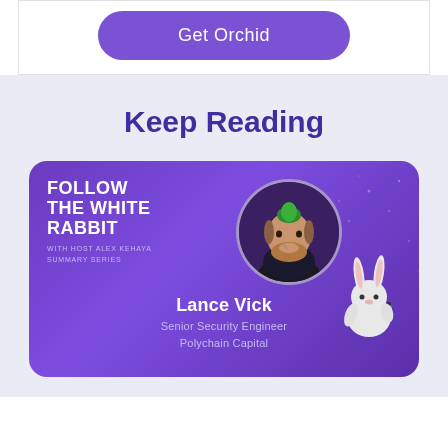[Figure (illustration): Purple rounded button labeled 'Get Orchid']
Keep Reading
[Figure (illustration): Podcast card for 'Follow the White Rabbit - Summary Series' featuring Lance Vick, Senior Security Engineer at Polychain Capital, with a circular photo of a man with green hair and a cartoon rabbit mascot on a purple gradient background.]